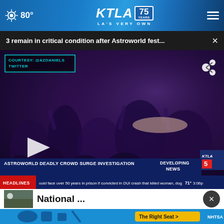80° KTLA 75 YEARS LA'S VERY OWN
3 remain in critical condition after Astroworld fest... ×
[Figure (screenshot): Video thumbnail showing a crowd at Astroworld festival with people being passed over the crowd. Lower thirds show 'ASTROWORLD DEADLY CROWD SURGE INVESTIGATION' and 'DEVELOPING NEWS'. Ticker reads 'HEADLINES ould face over 50 years in prison if convicted in DUI crash that killed woman, dog 71° 3:06p']
National ...
[Figure (photo): NHTSA advertisement banner: 'The Right Seat >' with car seat safety icons and NHTSA logo]